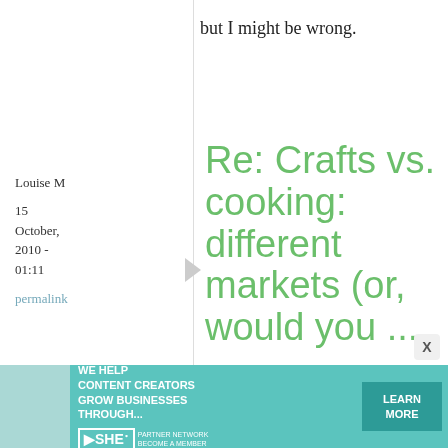but I might be wrong.
Louise M
15 October, 2010 - 01:11
permalink
Re: Crafts vs. cooking: different markets (or, would you ...
I found "Just Hungry" following a trail on "Just Bento" just last
[Figure (infographic): SHE Partner Network advertisement banner: 'We help content creators grow businesses through...' with Learn More button]